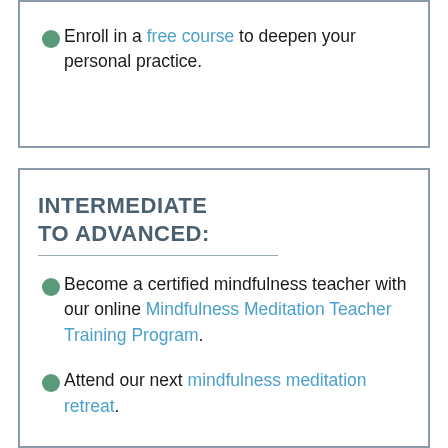Enroll in a free course to deepen your personal practice.
INTERMEDIATE TO ADVANCED:
Become a certified mindfulness teacher with our online Mindfulness Meditation Teacher Training Program.
Attend our next mindfulness meditation retreat.